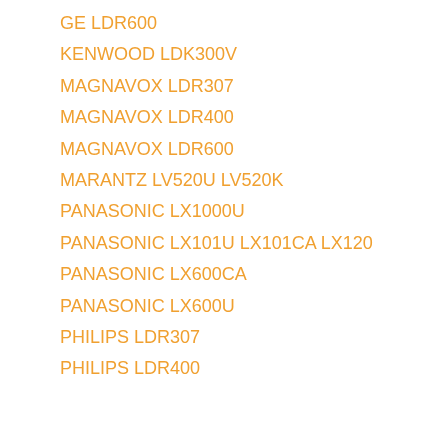GE LDR600
KENWOOD LDK300V
MAGNAVOX LDR307
MAGNAVOX LDR400
MAGNAVOX LDR600
MARANTZ LV520U LV520K
PANASONIC LX1000U
PANASONIC LX101U LX101CA LX120
PANASONIC LX600CA
PANASONIC LX600U
PHILIPS LDR307
PHILIPS LDR400